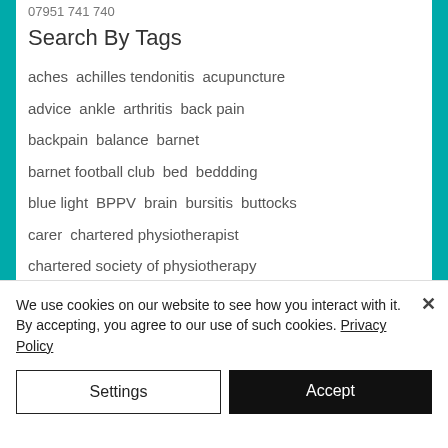07951 741 740
Search By Tags
aches
achilles tendonitis
acupuncture
advice
ankle
arthritis
back pain
backpain
balance
barnet
barnet football club
bed
beddding
blue light
BPPV
brain
bursitis
buttocks
carer
chartered physiotherapist
chartered society of physiotherapy
chest physio
child's hill
cold
compress
We use cookies on our website to see how you interact with it. By accepting, you agree to our use of such cookies. Privacy Policy
Settings
Accept